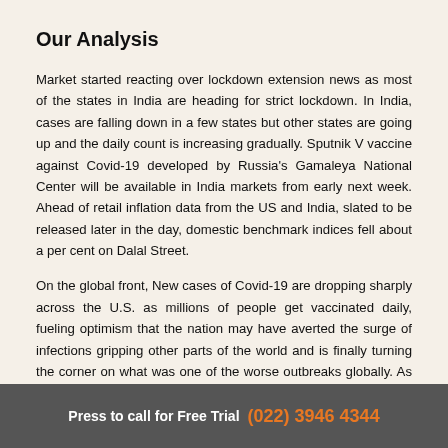Our Analysis
Market started reacting over lockdown extension news as most of the states in India are heading for strict lockdown. In India, cases are falling down in a few states but other states are going up and the daily count is increasing gradually. Sputnik V vaccine against Covid-19 developed by Russia's Gamaleya National Center will be available in India markets from early next week. Ahead of retail inflation data from the US and India, slated to be released later in the day, domestic benchmark indices fell about a per cent on Dalal Street.
On the global front, New cases of Covid-19 are dropping sharply across the U.S. as millions of people get vaccinated daily, fueling optimism that the nation may have averted the surge of infections gripping other parts of the world and is finally turning the corner on what was one of the worse outbreaks globally. As of Saturday, the 7-day average of daily new cases fell to under 50,000 for the first time since October and is down 17% from a week prior. Cases are falling as more
Press to call for Free Trial (022) 3946 4344